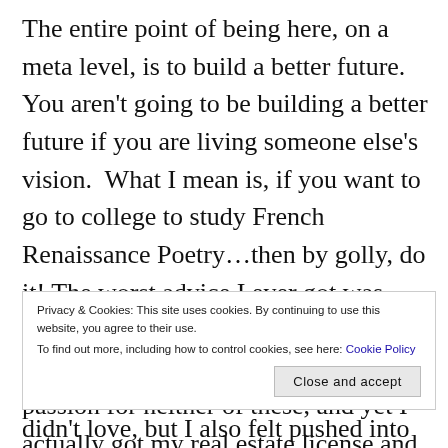The entire point of being here, on a meta level, is to build a better future. You aren't going to be building a better future if you are living someone else's vision.  What I mean is, if you want to go to college to study French Renaissance Poetry…then by golly, do it! The worst advice I ever got was advice I actually took…go into real estate, or go into computers. I have passion for neither of these, and yet I actually got my real estate license and I actually started taking computer programming classes in college.  Neither of those two
Privacy & Cookies: This site uses cookies. By continuing to use this website, you agree to their use.
To find out more, including how to control cookies, see here: Cookie Policy
didn't love, but I also felt pushed into them. Nothing